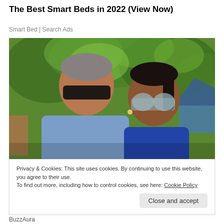The Best Smart Beds in 2022 (View Now)
Smart Bed | Search Ads
[Figure (photo): Two people wearing sunglasses outdoors with green trees and a house in the background]
Privacy & Cookies: This site uses cookies. By continuing to use this website, you agree to their use.
To find out more, including how to control cookies, see here: Cookie Policy
Close and accept
BuzzAura